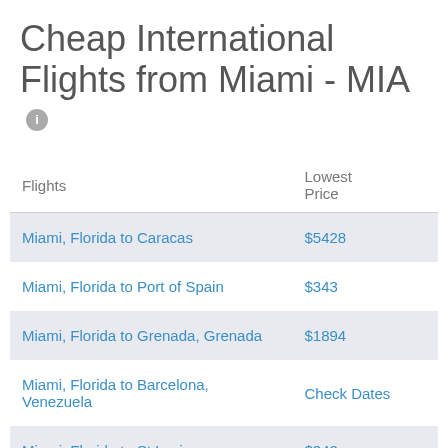Cheap International Flights from Miami - MIA
| Flights | Lowest Price |
| --- | --- |
| Miami, Florida to Caracas | $5428 |
| Miami, Florida to Port of Spain | $343 |
| Miami, Florida to Grenada, Grenada | $1894 |
| Miami, Florida to Barcelona, Venezuela | Check Dates |
| Miami, Florida to St Lucia | $342 |